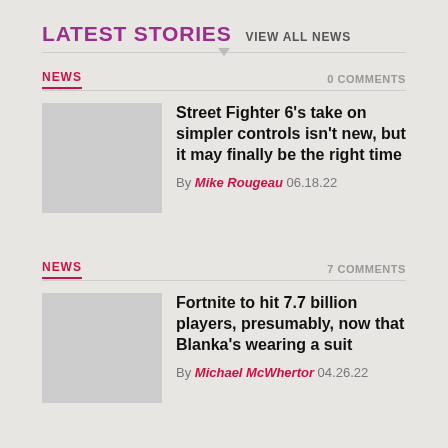LATEST STORIES VIEW ALL NEWS
NEWS   0 COMMENTS
Street Fighter 6's take on simpler controls isn't new, but it may finally be the right time
By Mike Rougeau 06.18.22
NEWS   7 COMMENTS
Fortnite to hit 7.7 billion players, presumably, now that Blanka's wearing a suit
By Michael McWhertor 04.26.22